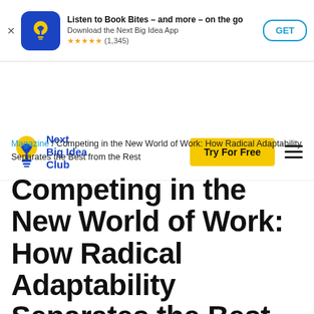[Figure (screenshot): App store banner for Next Big Idea app with icon, rating stars (1,345), and GET button]
[Figure (logo): Next Big Idea Club logo with lightbulb icon and blue text, plus yellow Try For Free button and hamburger menu]
Magazine / Competing in the New World of Work: How Radical Adaptability Separates the Best from the Rest
Competing in the New World of Work: How Radical Adaptability Separates the Best from